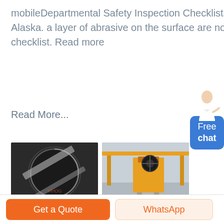mobileDepartmental Safety Inspection Checklists – University of Alaska. a layer of abrasive on the surface are not covered by this checklist. Read more
Read More...
[Figure (photo): Two industrial photos: left shows a large circular mill/conveyor viewed from above; right shows a yellow jaw crusher in a factory setting]
Crusher Conveyor Pre Start Checklist
Get a Quote
WhatsApp